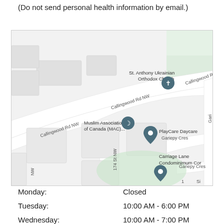(Do not send personal health information by email.)
[Figure (map): Google Maps screenshot showing Callingwood Rd NW area with landmarks: St. Anthony Ukrainian Orthodox Church, Muslim Association of Canada (MAC), PlayCare Daycare, Carriage Lane Condominimum Cor, 174 St NW, Gariepy Cres]
Monday: Closed
Tuesday: 10:00 AM - 6:00 PM
Wednesday: 10:00 AM - 7:00 PM